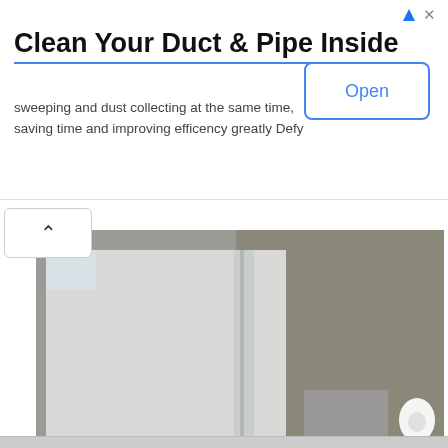[Figure (other): Advertisement banner: Clean Your Duct & Pipe Inside with Open button]
Clean Your Duct & Pipe Inside
sweeping and dust collecting at the same time, saving time and improving efficency greatly Defy
[Figure (photo): Bathroom photo showing a modern toilet room with wall-hung toilet, wooden floor, bath mat, glass partition, and sink]
Should You Include A Water Closet In Your Bathroom Design
Thebathoutlet Com